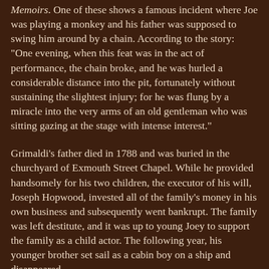Memoirs. One of these shows a famous incident where Joe was playing a monkey and his father was supposed to swing him around by a chain. According to the story: "One evening, when this feat was in the act of performance, the chain broke, and he was hurled a considerable distance into the pit, fortunately without sustaining the slightest injury; for he was flung by a miracle into the very arms of an old gentleman who was sitting gazing at the stage with intense interest."
Grimaldi's father died in 1788 and was buried in the churchyard of Exmouth Street Chapel. While he provided handsomely for his two children, the executor of his will, Joseph Hopwood, invested all of the family's money in his own business and subsequently went bankrupt. The family was left destitute, and it was up to young Joey to support the family as a child actor. The following year, his younger brother set sail as a cabin boy on a ship and disappeared.
As a teenager, Joey fell in love with Maria Hughes, who also happened to be the daughter of his employer at Sadler's Wells. On the very day that Grimaldi delivered his first love